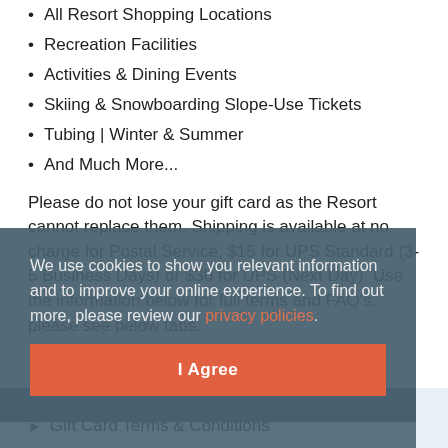All Resort Shopping Locations
Recreation Facilities
Activities & Dining Events
Skiing & Snowboarding Slope-Use Tickets
Tubing | Winter & Summer
And Much More...
Please do not lose your gift card as the Resort cannot replace them. Shipping is available at no charge for Postal Service, $15 for UPS Standard (3-5 Business Days) or $30 for UPS (Next Day). Use the information below for full terms and FAQ's, please see below tabs.
We use cookies to show you relevant information and to improve your online experience. To find out more, please review our privacy policies.
I Agree
◄ BACK TO SHOP
► Gift Card Terms & Conditions